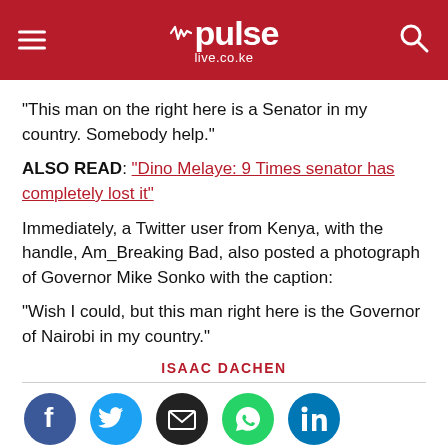pulse live.co.ke
"This man on the right here is a Senator in my country. Somebody help."
ALSO READ: "Dino Melaye: 9 Times senator has completely lost it"
Immediately, a Twitter user from Kenya, with the handle, Am_Breaking Bad, also posted a photograph of Governor Mike Sonko with the caption:
"Wish I could, but this man right here is the Governor of Nairobi in my country."
ISAAC DACHEN
[Figure (other): Social media share icons: Facebook, Twitter, Email, WhatsApp, LinkedIn]